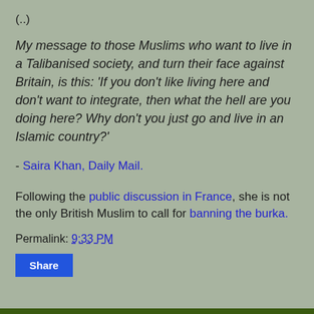(..)
My message to those Muslims who want to live in a Talibanised society, and turn their face against Britain, is this: 'If you don't like living here and don't want to integrate, then what the hell are you doing here? Why don't you just go and live in an Islamic country?'
- Saira Khan, Daily Mail.
Following the public discussion in France, she is not the only British Muslim to call for banning the burka.
Permalink: 9:33 PM
Share